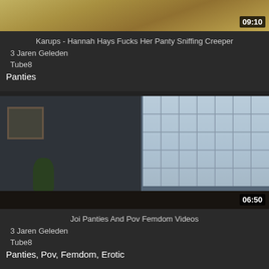[Figure (photo): Video thumbnail showing partial view, golden/warm tones, with duration badge 09:10]
Karups - Hannah Hays Fucks Her Panty Sniffing Creeper
3 Jaren Geleden
Tube8
Panties
[Figure (photo): Video thumbnail showing a woman in dark lingerie posing in front of large windows with a city building visible, indoor setting. Duration badge 06:50.]
Joi Panties And Pov Femdom Videos
3 Jaren Geleden
Tube8
Panties, Pov, Femdom, Erotic
[Figure (photo): Partial thumbnails at the bottom of the page, two side-by-side video thumbnails partially visible]